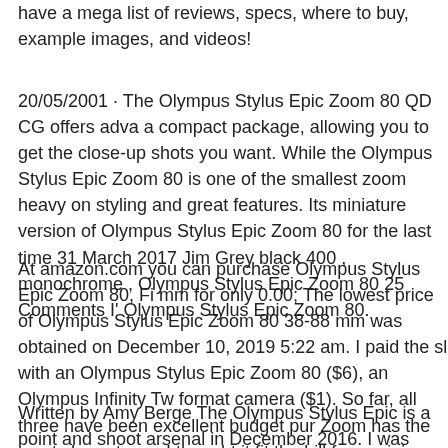have a mega list of reviews, specs, where to buy, example images, and videos!
20/05/2001 · The Olympus Stylus Epic Zoom 80 QD CG offers adva a compact package, allowing you to get the close-up shots you want. While the Olympus Stylus Epic Zoom 80 is one of the smallest zoom heavy on styling and great features. Its miniature version of Olympus Stylus Epic Zoom 80 for the last time 31 March 2017 Jim Grey black 400 , monochrome , Olympus Stylus Epic Zoom 80 25 Comments I' Olympus Stylus Epic Zoom 80.
At amazon.com you can purchase Olympus Stylus Epic Zoom 80, Fi mm for only 0.00; The lowest price of Olympus Stylus Epic Zoom 80 38-88 mm was obtained on December 10, 2019 5:22 am. I paid the sl with an Olympus Stylus Epic Zoom 80 ($6), an Olympus Infinity Tw format camera ($1). So far, all three have been excellent budget pur Zoom has the most character so I thought it fit the bill for a mini-rev
Written by Amy Berge The Olympus Stylus Epic is a point and shoot arsenal in December 2016. I was doing my research, trying to decide